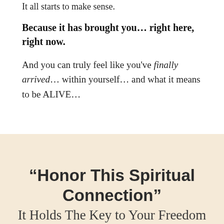It all starts to make sense.
Because it has brought you… right here, right now.
And you can truly feel like you've finally arrived… within yourself… and what it means to be ALIVE…
“Honor This Spiritual Connection”
It Holds The Key to Your Freedom